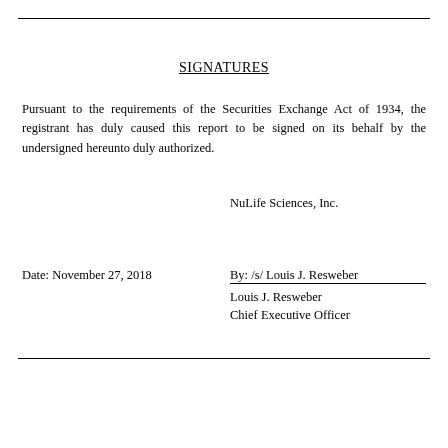SIGNATURES
Pursuant to the requirements of the Securities Exchange Act of 1934, the registrant has duly caused this report to be signed on its behalf by the undersigned hereunto duly authorized.
NuLife Sciences, Inc.
Date: November 27, 2018
By: /s/ Louis J. Resweber
Louis J. Resweber
Chief Executive Officer